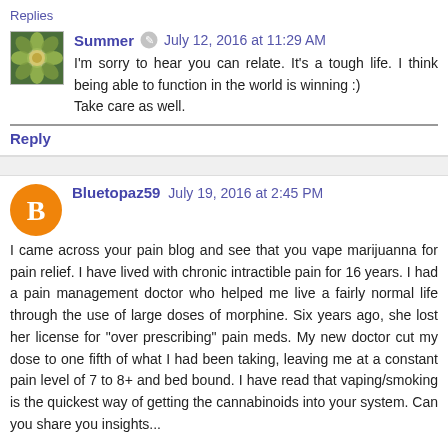Replies
Summer · July 12, 2016 at 11:29 AM
I'm sorry to hear you can relate. It's a tough life. I think being able to function in the world is winning :)
Take care as well.
Reply
Bluetopaz59   July 19, 2016 at 2:45 PM
I came across your pain blog and see that you vape marijuanna for pain relief. I have lived with chronic intractible pain for 16 years. I had a pain management doctor who helped me live a fairly normal life through the use of large doses of morphine. Six years ago, she lost her license for "over prescribing" pain meds. My new doctor cut my dose to one fifth of what I had been taking, leaving me at a constant pain level of 7 to 8+ and bed bound. I have read that vaping/smoking is the quickest way of getting the cannabinoids into your system. Can you share you insights...